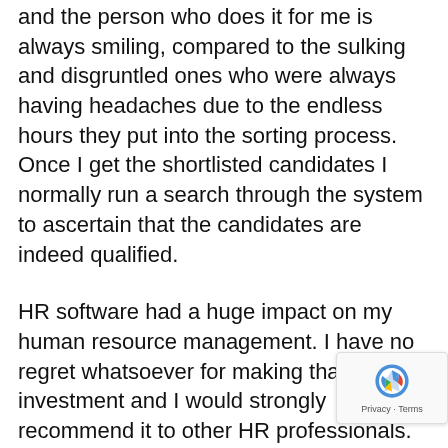and the person who does it for me is always smiling, compared to the sulking and disgruntled ones who were always having headaches due to the endless hours they put into the sorting process. Once I get the shortlisted candidates I normally run a search through the system to ascertain that the candidates are indeed qualified.
HR software had a huge impact on my human resource management. I have no regret whatsoever for making that investment and I would strongly recommend it to other HR professionals.
Ed Smith is an experienced HR professional which is always happy to sharing his experiences with rest of the HR community. Ed strongly recommends Breathe HR to other HR